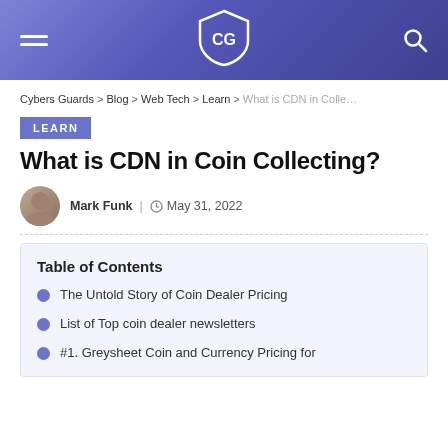CG (logo) — navigation header with hamburger menu and search icon
Cybers Guards > Blog > Web Tech > Learn > What is CDN in Colle…
LEARN
What is CDN in Coin Collecting?
Mark Funk | May 31, 2022
Table of Contents
The Untold Story of Coin Dealer Pricing
List of Top coin dealer newsletters
#1. Greysheet Coin and Currency Pricing for